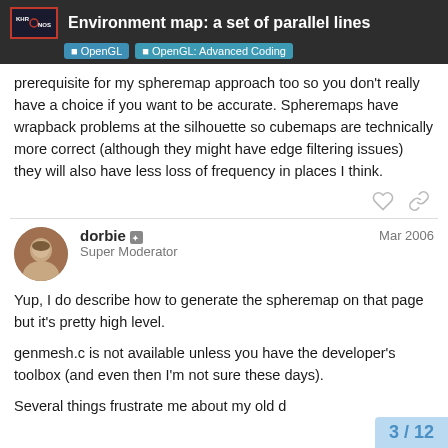Environment map: a set of parallel lines | OpenGL | OpenGL: Advanced Coding
prerequisite for my spheremap approach too so you don't really have a choice if you want to be accurate. Spheremaps have wrapback problems at the silhouette so cubemaps are technically more correct (although they might have edge filtering issues) they will also have less loss of frequency in places I think.
dorbie — Super Moderator — Mar 2006
Yup, I do describe how to generate the spheremap on that page but it's pretty high level.
genmesh.c is not available unless you have the developer's toolbox (and even then I'm not sure these days).
Several things frustrate me about my old d
3 / 12